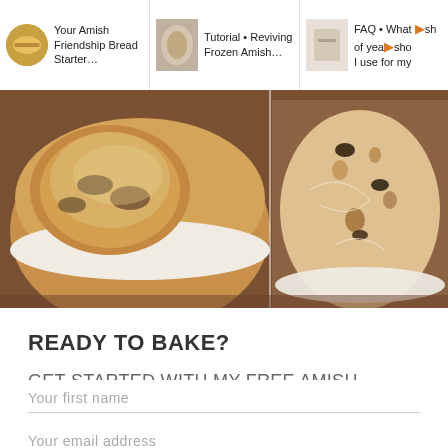[Figure (screenshot): Top navigation bar with three thumbnail cards: 'Your Amish Friendship Bread Starter...', 'Tutorial • Reviving Frozen Amish...', 'FAQ • What of yea sho I use for my']
[Figure (photo): Large photo of Amish Friendship Bread - two side-by-side views of the bread showing exterior and interior crumb on a white plate with scalloped edges on a dark wooden surface]
READY TO BAKE?
GET STARTED WITH MY FREE AMISH FRIENDSHIP BREAD RECIPE GUIDE!
Your first name
Your email address